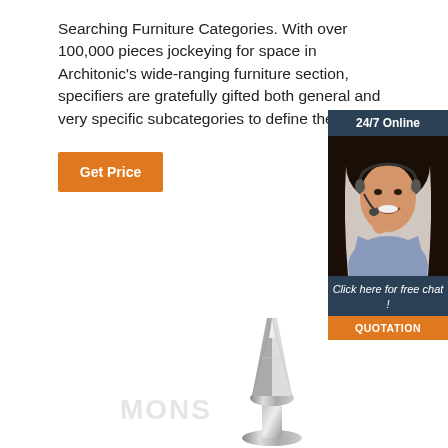Searching Furniture Categories. With over 100,000 pieces jockeying for space in Architonic's wide-ranging furniture section, specifiers are gratefully gifted both general and very specific subcategories to define their search.
[Figure (other): Orange 'Get Price' button]
[Figure (other): 24/7 online chat widget with woman wearing headset, 'Click here for free chat!' text, and orange QUOTATION button]
[Figure (photo): Silver/chrome decorative furniture piece or hardware component at the bottom of the page with faint watermark text 'MONS']